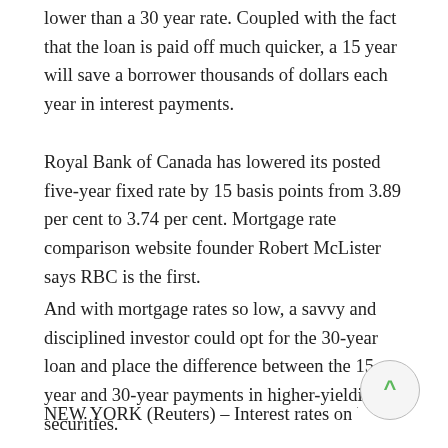lower than a 30 year rate. Coupled with the fact that the loan is paid off much quicker, a 15 year will save a borrower thousands of dollars each year in interest payments.
Royal Bank of Canada has lowered its posted five-year fixed rate by 15 basis points from 3.89 per cent to 3.74 per cent. Mortgage rate comparison website founder Robert McLister says RBC is the first.
And with mortgage rates so low, a savvy and disciplined investor could opt for the 30-year loan and place the difference between the 15-year and 30-year payments in higher-yielding securities.
NEW YORK (Reuters) – Interest rates on U.S. 30-yea… 15-year fixed-rate mortgages fall to their lowest in ever